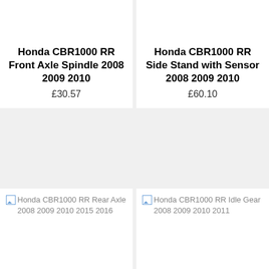[Figure (photo): Broken image placeholder for Honda CBR1000 RR Front Axle Spindle 2008 2009 2010]
Honda CBR1000 RR Front Axle Spindle 2008 2009 2010
£30.57
[Figure (photo): Broken image placeholder for Honda CBR1000 RR Side Stand with Sensor 2008 2009 2010]
Honda CBR1000 RR Side Stand with Sensor 2008 2009 2010
£60.10
[Figure (photo): Broken image placeholder for Honda CBR1000 RR Rear Axle 2008 2009 2010 2015 2016]
[Figure (photo): Broken image placeholder for Honda CBR1000 RR Idle Gear 2008 2009 2010 2011]